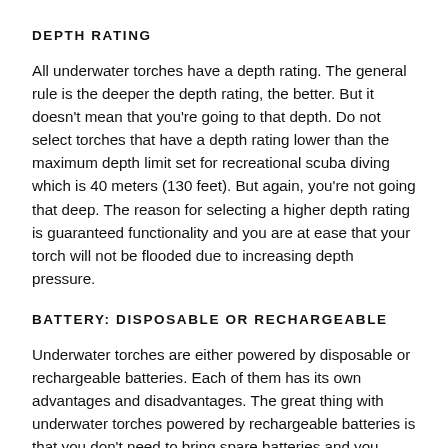DEPTH RATING
All underwater torches have a depth rating. The general rule is the deeper the depth rating, the better. But it doesn’t mean that you’re going to that depth. Do not select torches that have a depth rating lower than the maximum depth limit set for recreational scuba diving which is 40 meters (130 feet). But again, you’re not going that deep. The reason for selecting a higher depth rating is guaranteed functionality and you are at ease that your torch will not be flooded due to increasing depth pressure.
BATTERY: DISPOSABLE OR RECHARGEABLE
Underwater torches are either powered by disposable or rechargeable batteries. Each of them has its own advantages and disadvantages. The great thing with underwater torches powered by rechargeable batteries is that you don’t need to bring spare batteries and you simply pack the underwater torch